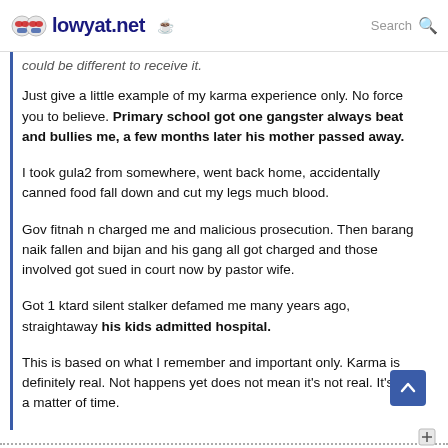lowyat.net | Search
could be different to receive it.
Just give a little example of my karma experience only. No force you to believe. Primary school got one gangster always beat and bullies me, a few months later his mother passed away.
I took gula2 from somewhere, went back home, accidentally canned food fall down and cut my legs much blood.
Gov fitnah n charged me and malicious prosecution. Then barang naik fallen and bijan and his gang all got charged and those involved got sued in court now by pastor wife.
Got 1 ktard silent stalker defamed me many years ago, straightaway his kids admitted hospital.
This is based on what I remember and important only. Karma is definitely real. Not happens yet does not mean it's not real. It's just a matter of time.